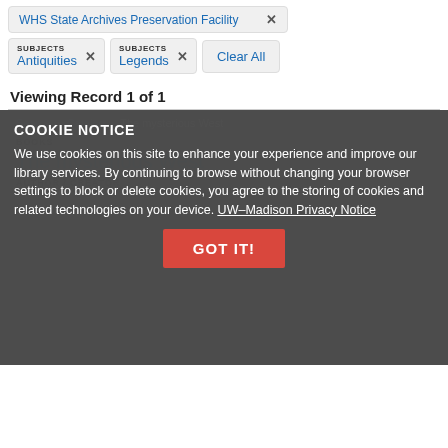WHS State Archives Preservation Facility ×
SUBJECTS Antiquities × SUBJECTS Legends × Clear All
Viewing Record 1 of 1
Search › Catalog › The mysterious West
COOKIE NOTICE
We use cookies on this site to enhance your experience and improve our library services. By continuing to browse without changing your browser settings to block or delete cookies, you agree to the storing of cookies and related technologies on your device. UW–Madison Privacy Notice
GOT IT!
BOOKS
The mysterious West
AUTHOR / CREATOR